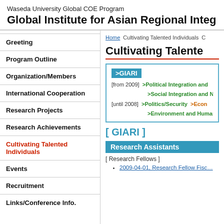Waseda University Global COE Program
Global Institute for Asian Regional Integrati
Greeting
Program Outline
Organization/Members
International Cooperation
Research Projects
Research Achievements
Cultivating Talented Individuals
Events
Recruitment
Links/Conference Info.
Home   Cultivating Talented Individuals   C
Cultivating Talente
>GIARI
[from 2009] >Political Integration and
>Social Integration and N
[until 2008] >Politics/Security  >Econ
>Environment and Human
[ GIARI ]
Research Assistants
[ Research Fellows ]
2009-04-01, Research Fellow Fisc…